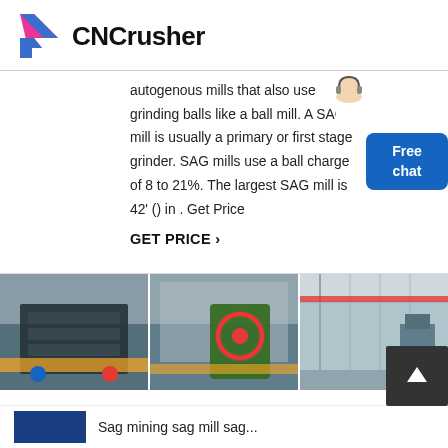CNCrusher
autogenous mills that also use grinding balls like a ball mill. A SAG mill is usually a primary or first stage grinder. SAG mills use a ball charge of 8 to 21%. The largest SAG mill is 42' () in . Get Price
GET PRICE ›
[Figure (photo): Three industrial machinery photos in a horizontal strip: left panel shows a vibrating screen/screening machine with dark frame and yellow/blue accents; middle panel shows a jaw crusher with a red circular element; right panel shows a large factory interior with overhead cranes.]
[Figure (other): Scroll-to-top button (dark square with upward arrow)]
Sag mining sag mill sag...